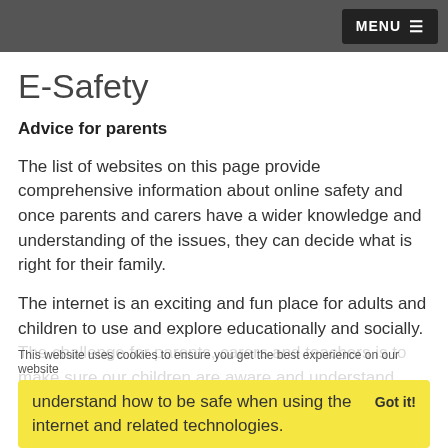MENU ☰
E-Safety
Advice for parents
The list of websites on this page provide comprehensive information about online safety and once parents and carers have a wider knowledge and understanding of the issues, they can decide what is right for their family.
The internet is an exciting and fun place for adults and children to use and explore educationally and socially. The challenge for parents, carers and teachers is to make sure our children are aware and understand how to be safe when using the internet and related technologies.
This website uses cookies to ensure you get the best experience on our website
understand how to be safe when using the internet and related technologies. Got it!